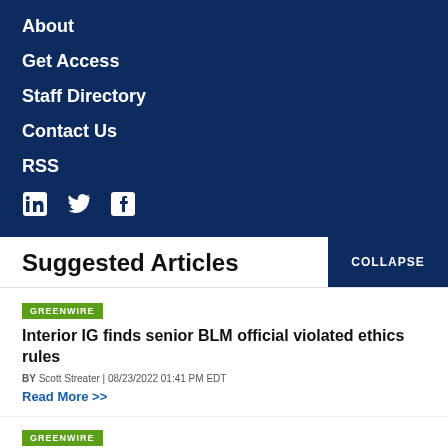About
Get Access
Staff Directory
Contact Us
RSS
[Figure (infographic): Social media icons: LinkedIn, Twitter, Facebook]
Suggested Articles
GREENWIRE
Interior IG finds senior BLM official violated ethics rules
BY Scott Streater | 08/23/2022 01:41 PM EDT
Read More >>
GREENWIRE
Biden admin eyes funding Canadian mining